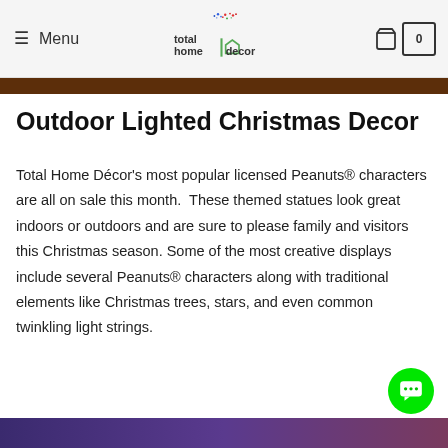≡ Menu | total home decor | 0
Outdoor Lighted Christmas Decor
Total Home Décor's most popular licensed Peanuts® characters are all on sale this month. These themed statues look great indoors or outdoors and are sure to please family and visitors this Christmas season. Some of the most creative displays include several Peanuts® characters along with traditional elements like Christmas trees, stars, and even common twinkling light strings.
[Figure (photo): Bottom image bar showing a dark purple/blue gradient scene, partially visible at bottom of page]